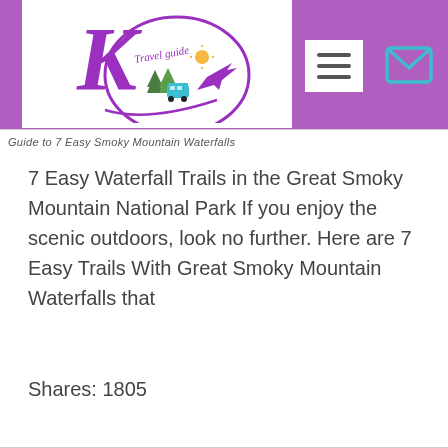[Figure (logo): K. Travel Guide logo with purple K, circular design with trees, bus, airplane, and text 'Travel Guide']
Guide to 7 Easy Smoky Mountain Waterfalls
7 Easy Waterfall Trails in the Great Smoky Mountain National Park If you enjoy the scenic outdoors, look no further. Here are 7 Easy Trails With Great Smoky Mountain Waterfalls that
Shares: 1805